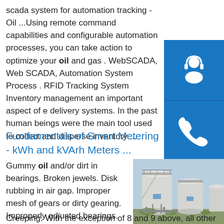scada system for automation tracking - Oil ...Using remote command capabilities and configurable automation processes, you can take action to optimize your oil and gas . WebSCADA, Web SCADA, Automation System Process . RFID Tracking System Inventory management an important aspect of e delivery systems. In the past human beings were the main tool used to collect and disperse inventory ...
[Figure (other): Three blue icon boxes on right sidebar: headset/support icon, phone icon, Skype icon]
Fundamentals of Smart Metering - kWh and kVArh Meters ...
Gummy oil and/or dirt in bearings. Broken jewels. Disk rubbing in air gap. Improper mesh of gears or dirty gearing. Improperly adjusted bearings. Vibration of the meter mounting.
[Figure (photo): Industrial storage tanks (white/grey cylindrical tanks) at an oil or gas facility, photographed outdoors under a blue sky.]
Creeping. With the exception of 8 and 9 above, all other